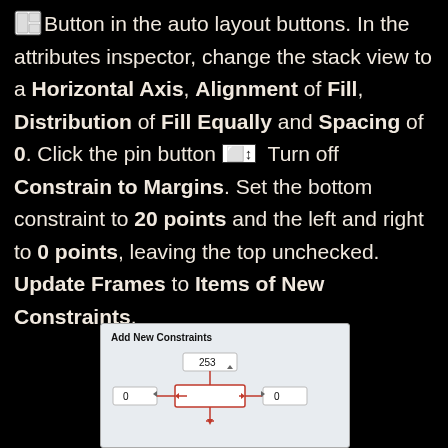Button in the auto layout buttons. In the attributes inspector, change the stack view to a Horizontal Axis, Alignment of Fill, Distribution of Fill Equally and Spacing of 0. Click the pin button. Turn off Constrain to Margins. Set the bottom constraint to 20 points and the left and right to 0 points, leaving the top unchecked. Update Frames to Items of New Constraints.
[Figure (screenshot): Add New Constraints panel showing input fields with value 253 at top, 0 on left and right sides, with a pin/constraint diagram in the center showing dashed lines and arrows.]